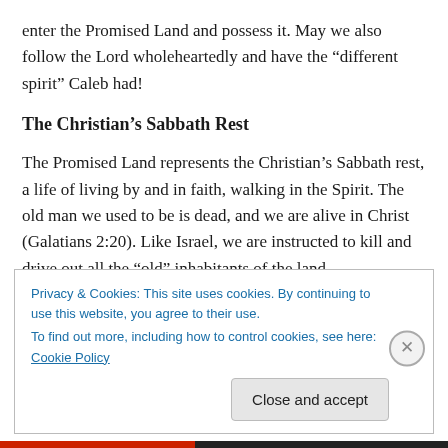enter the Promised Land and possess it. May we also follow the Lord wholeheartedly and have the “different spirit” Caleb had!
The Christian’s Sabbath Rest
The Promised Land represents the Christian’s Sabbath rest, a life of living by and in faith, walking in the Spirit. The old man we used to be is dead, and we are alive in Christ (Galatians 2:20). Like Israel, we are instructed to kill and drive out all the “old” inhabitants of the land (Deuteronomy
Privacy & Cookies: This site uses cookies. By continuing to use this website, you agree to their use.
To find out more, including how to control cookies, see here: Cookie Policy